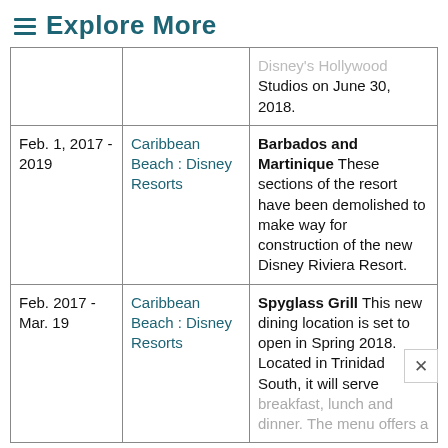≡ Explore More
| Date | Location | Description |
| --- | --- | --- |
|  |  | Disney's Hollywood Studios on June 30, 2018. |
| Feb. 1, 2017 - 2019 | Caribbean Beach : Disney Resorts | Barbados and Martinique These sections of the resort have been demolished to make way for construction of the new Disney Riviera Resort. |
| Feb. 2017 - Mar. 19 | Caribbean Beach : Disney Resorts | Spyglass Grill This new dining location is set to open in Spring 2018. Located in Trinidad South, it will serve breakfast, lunch and dinner. The menu offers a |